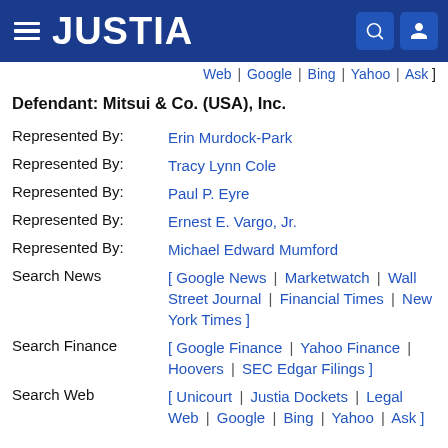JUSTIA
Web | Google | Bing | Yahoo | Ask ]
Defendant: Mitsui & Co. (USA), Inc.
Represented By: Erin Murdock-Park
Represented By: Tracy Lynn Cole
Represented By: Paul P. Eyre
Represented By: Ernest E. Vargo, Jr.
Represented By: Michael Edward Mumford
Search News [ Google News | Marketwatch | Wall Street Journal | Financial Times | New York Times ]
Search Finance [ Google Finance | Yahoo Finance | Hoovers | SEC Edgar Filings ]
Search Web [ Unicourt | Justia Dockets | Legal Web | Google | Bing | Yahoo | Ask ]